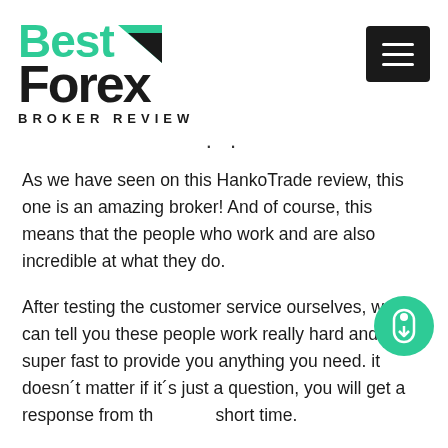[Figure (logo): Best Forex Broker Review logo with green 'Best' text and black 'Forex' text, with arrow graphic and hamburger menu button]
As we have seen on this HankoTrade review, this one is an amazing broker! And of course, this means that the people who work and are also incredible at what they do.
After testing the customer service ourselves, we can tell you these people work really hard and super fast to provide you anything you need. it doesn´t matter if it´s just a question, you will get a response from them in a short time.
You can contact these teams using the e-mail that you